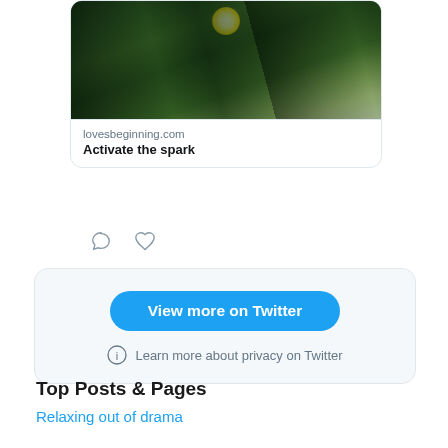[Figure (screenshot): Tweet card with tree canopy photo and link preview to lovesbeginning.com - Activate the spark]
lovesbeginning.com
Activate the spark
[Figure (other): Tweet action icons: comment bubble and heart]
[Figure (screenshot): Twitter embed box with 'View more on Twitter' button and privacy link]
View more on Twitter
Learn more about privacy on Twitter
Top Posts & Pages
Relaxing out of drama